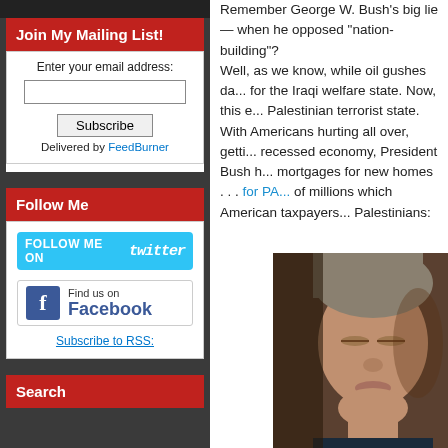Join My Mailing List!
Enter your email address:
Subscribe
Delivered by FeedBurner
Follow Me
[Figure (screenshot): Follow Me on Twitter button (cyan background)]
[Figure (screenshot): Find us on Facebook button]
Subscribe to RSS:
Search
Remember George W. Bush's big lie — when he opposed "nation-building"?
Well, as we know, while oil gushes da... for the Iraqi welfare state. Now, this e... Palestinian terrorist state.
With Americans hurting all over, getti... recessed economy, President Bush h... mortgages for new homes . . . for PA... of millions which American taxpayers... Palestinians:
[Figure (photo): Close-up photo of a man (George W. Bush) with eyes closed]